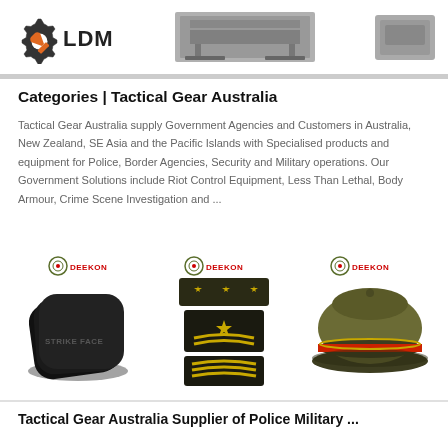[Figure (logo): LDM logo with gear/wrench icon in orange and dark text]
[Figure (photo): Banner product image center - dark equipment on stand]
[Figure (photo): Banner product image right - dark equipment]
Categories | Tactical Gear Australia
Tactical Gear Australia supply Government Agencies and Customers in Australia, New Zealand, SE Asia and the Pacific Islands with Specialised products and equipment for Police, Border Agencies, Security and Military operations. Our Government Solutions include Riot Control Equipment, Less Than Lethal, Body Armour, Crime Scene Investigation and ...
[Figure (photo): Three Deekon branded product images: strike face armor plates, military rank patches/badges, military officer hat in olive/green with red band]
Tactical Gear Australia Supplier of Police Military ...